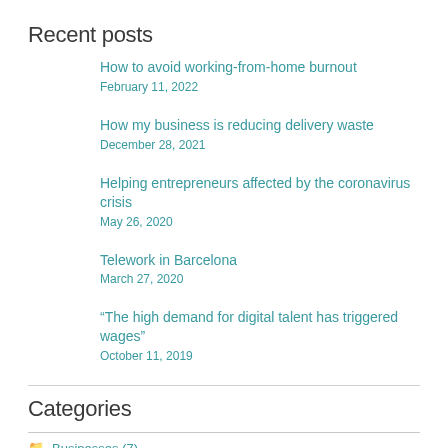Recent posts
How to avoid working-from-home burnout
February 11, 2022
How my business is reducing delivery waste
December 28, 2021
Helping entrepreneurs affected by the coronavirus crisis
May 26, 2020
Telework in Barcelona
March 27, 2020
“The high demand for digital talent has triggered wages”
October 11, 2019
Categories
Businesses (7)